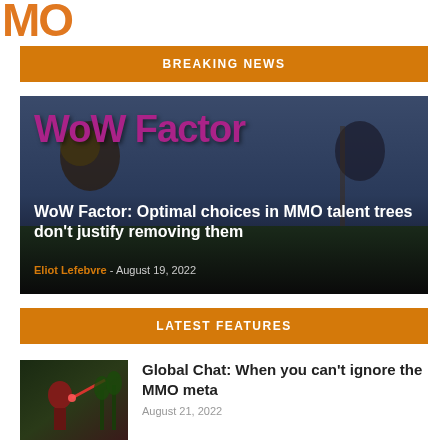[Figure (logo): Massively Overpowered logo letters 'MO' in orange]
BREAKING NEWS
[Figure (photo): WoW Factor article hero image with large purple stylized text 'WoW Factor' over a dark fantasy game scene]
WoW Factor: Optimal choices in MMO talent trees don't justify removing them
Eliot Lefebvre - August 19, 2022
LATEST FEATURES
[Figure (photo): Thumbnail image of a red armored character in a forest scene]
Global Chat: When you can't ignore the MMO meta
August 21, 2022